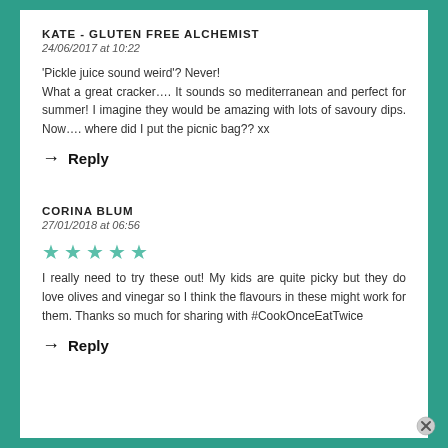KATE - GLUTEN FREE ALCHEMIST
24/06/2017 at 10:22
'Pickle juice sound weird'? Never! What a great cracker…. It sounds so mediterranean and perfect for summer! I imagine they would be amazing with lots of savoury dips. Now…. where did I put the picnic bag?? xx
→ Reply
CORINA BLUM
27/01/2018 at 06:56
[Figure (other): Five teal/green star rating icons]
I really need to try these out! My kids are quite picky but they do love olives and vinegar so I think the flavours in these might work for them. Thanks so much for sharing with #CookOnceEatTwice
→ Reply